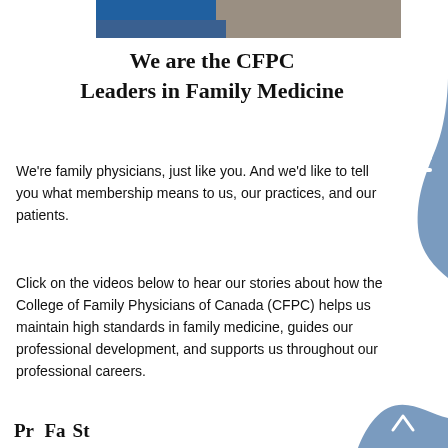[Figure (photo): Top portion of a photograph showing a person, partially visible, with blue and grey tones]
We are the CFPC Leaders in Family Medicine
We're family physicians, just like you. And we'd like to tell you what membership means to us, our practices, and our patients.
Click on the videos below to hear our stories about how the College of Family Physicians of Canada (CFPC) helps us maintain high standards in family medicine, guides our professional development, and supports us throughout our professional careers.
Pr...   Fa...St...